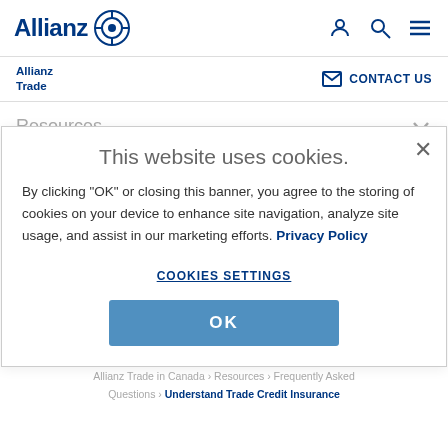Allianz
Allianz Trade | CONTACT US
Resources
Support
This website uses cookies.
By clicking "OK" or closing this banner, you agree to the storing of cookies on your device to enhance site navigation, analyze site usage, and assist in our marketing efforts. Privacy Policy
COOKIES SETTINGS
OK
Allianz Trade in Canada > Resources > Frequently Asked Questions > Understand Trade Credit Insurance